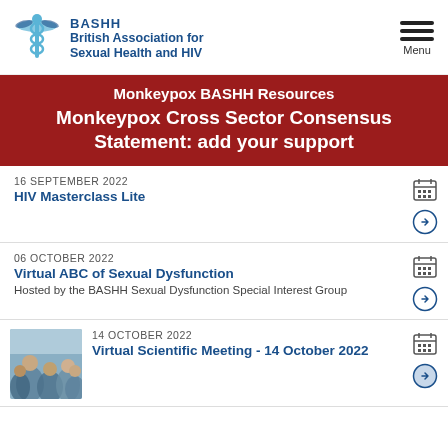BASHH British Association for Sexual Health and HIV
Monkeypox BASHH Resources
Monkeypox Cross Sector Consensus Statement: add your support
16 SEPTEMBER 2022
HIV Masterclass Lite
06 OCTOBER 2022
Virtual ABC of Sexual Dysfunction
Hosted by the BASHH Sexual Dysfunction Special Interest Group
14 OCTOBER 2022
Virtual Scientific Meeting - 14 October 2022